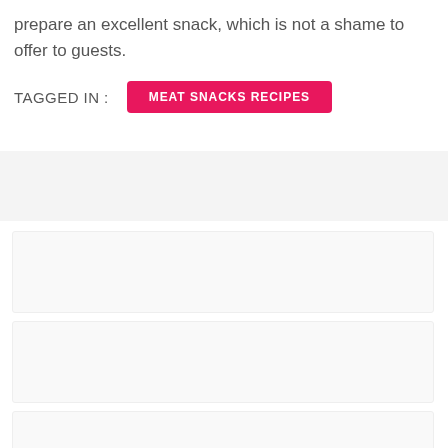prepare an excellent snack, which is not a shame to offer to guests.
TAGGED IN :  MEAT SNACKS RECIPES